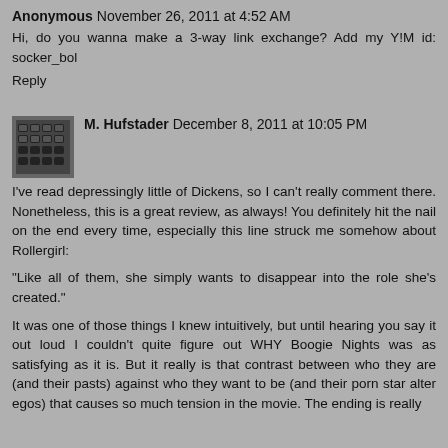Anonymous November 26, 2011 at 4:52 AM
Hi, do you wanna make a 3-way link exchange? Add my Y!M id: socker_bol
Reply
[Figure (photo): Avatar image of M. Hufstader - appears to be a typewriter or keyboard keys close-up]
M. Hufstader December 8, 2011 at 10:05 PM
I've read depressingly little of Dickens, so I can't really comment there. Nonetheless, this is a great review, as always! You definitely hit the nail on the end every time, especially this line struck me somehow about Rollergirl:
"Like all of them, she simply wants to disappear into the role she's created."
It was one of those things I knew intuitively, but until hearing you say it out loud I couldn't quite figure out WHY Boogie Nights was as satisfying as it is. But it really is that contrast between who they are (and their pasts) against who they want to be (and their porn star alter egos) that causes so much tension in the movie. The ending is really